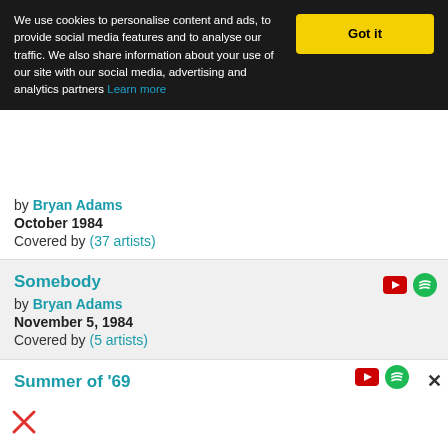We use cookies to personalise content and ads, to provide social media features and to analyse our traffic. We also share information about your use of our site with our social media, advertising and analytics partners Learn more
by Bryan Adams
October 1984
Covered by (37 artists)
Somebody
by Bryan Adams
November 5, 1984
Covered by (5 artists)
Star
by Bryan Adams
June 4, 1996
Covered by (3 artists)
Summer of '69